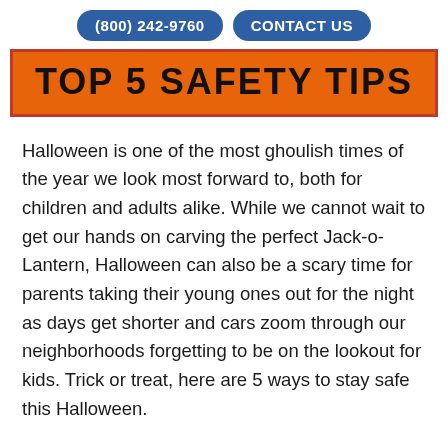(800) 242-9760   CONTACT US
TOP 5 SAFETY TIPS
Halloween is one of the most ghoulish times of the year we look most forward to, both for children and adults alike. While we cannot wait to get our hands on carving the perfect Jack-o-Lantern, Halloween can also be a scary time for parents taking their young ones out for the night as days get shorter and cars zoom through our neighborhoods forgetting to be on the lookout for kids. Trick or treat, here are 5 ways to stay safe this Halloween.